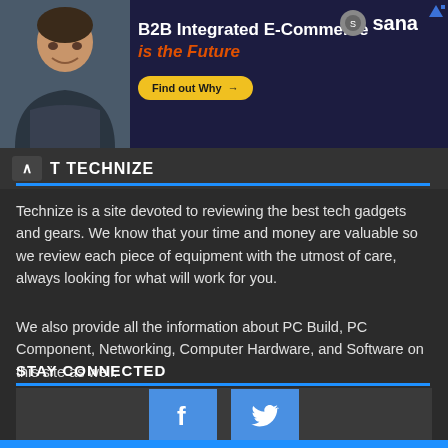[Figure (illustration): Advertisement banner with man photo, 'B2B Integrated E-Commerce is the Future' text, Find out Why button, and Sana logo]
ABOUT TECHNIZE
Technize is a site devoted to reviewing the best tech gadgets and gears. We know that your time and money are valuable so we review each piece of equipment with the utmost of care, always looking for what will work for you.
We also provide all the information about PC Build, PC Component, Networking, Computer Hardware, and Software on this site as well.
STAY CONNECTED
[Figure (infographic): Social media buttons: Facebook (f) and Twitter (bird icon) blue square buttons]